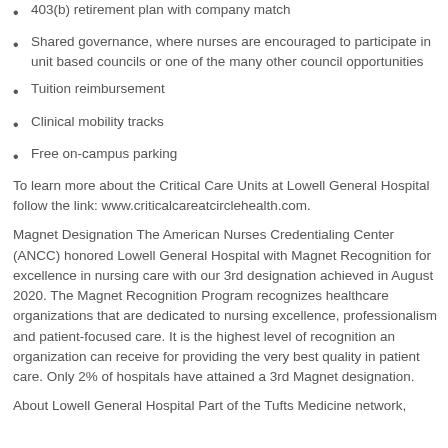403(b) retirement plan with company match
Shared governance, where nurses are encouraged to participate in unit based councils or one of the many other council opportunities
Tuition reimbursement
Clinical mobility tracks
Free on-campus parking
To learn more about the Critical Care Units at Lowell General Hospital follow the link: www.criticalcareatcirclehealth.com.
Magnet Designation The American Nurses Credentialing Center (ANCC) honored Lowell General Hospital with Magnet Recognition for excellence in nursing care with our 3rd designation achieved in August 2020. The Magnet Recognition Program recognizes healthcare organizations that are dedicated to nursing excellence, professionalism and patient-focused care. It is the highest level of recognition an organization can receive for providing the very best quality in patient care. Only 2% of hospitals have attained a 3rd Magnet designation.
About Lowell General Hospital Part of the Tufts Medicine network,